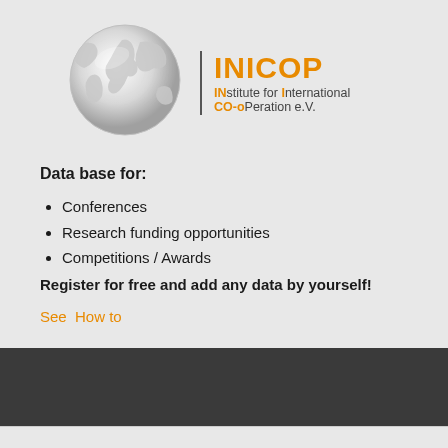[Figure (logo): INICOP logo with a globe illustration on the left and text 'INICOP | INstitute for International CO-oPeration e.V.' on the right]
Data base for:
Conferences
Research funding opportunities
Competitions / Awards
Register for free and add any data by yourself!
See  How to
[Figure (other): Dark footer bar with hamburger menu icon button]
You are here:  Home